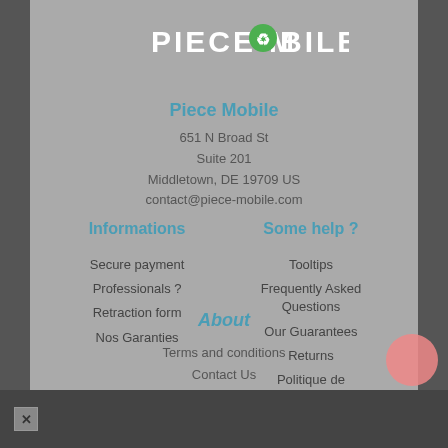[Figure (logo): PIECE-MOBILE logo with stylized green recycling icon replacing the 'O']
Piece Mobile
651 N Broad St
Suite 201
Middletown, DE 19709 US
contact@piece-mobile.com
Informations
Secure payment
Professionals ?
Retraction form
Nos Garanties
Some help ?
Tooltips
Frequently Asked Questions
Our Guarantees
Returns
Politique de confidentialité
About
Terms and conditions
Contact Us